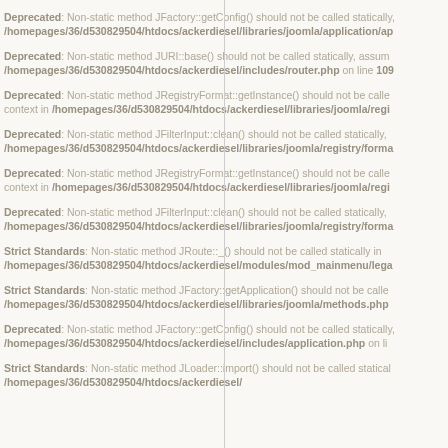Deprecated: Non-static method JFactory::getConfig() should not be called statically, /homepages/36/d530829504/htdocs/ackerdiesel/libraries/joomla/application/ap
Deprecated: Non-static method JURI::base() should not be called statically, assum /homepages/36/d530829504/htdocs/ackerdiesel/includes/router.php on line 109
Deprecated: Non-static method JRegistryFormat::getInstance() should not be calle context in /homepages/36/d530829504/htdocs/ackerdiesel/libraries/joomla/regi
Deprecated: Non-static method JFilterInput::clean() should not be called statically, /homepages/36/d530829504/htdocs/ackerdiesel/libraries/joomla/registry/forma
Deprecated: Non-static method JRegistryFormat::getInstance() should not be calle context in /homepages/36/d530829504/htdocs/ackerdiesel/libraries/joomla/regi
Deprecated: Non-static method JFilterInput::clean() should not be called statically, /homepages/36/d530829504/htdocs/ackerdiesel/libraries/joomla/registry/forma
Strict Standards: Non-static method JRoute::_() should not be called statically in /homepages/36/d530829504/htdocs/ackerdiesel/modules/mod_mainmenu/lega
Strict Standards: Non-static method JFactory::getApplication() should not be calle /homepages/36/d530829504/htdocs/ackerdiesel/libraries/joomla/methods.php
Deprecated: Non-static method JFactory::getConfig() should not be called statically /homepages/36/d530829504/htdocs/ackerdiesel/includes/application.php on li
Strict Standards: Non-static method JLoader::import() should not be called statical /homepages/36/d530829504/htdocs/ackerdiesel/